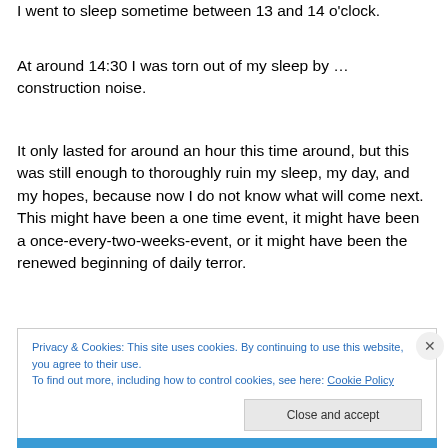I went to sleep sometime between 13 and 14 o'clock.
At around 14:30 I was torn out of my sleep by … construction noise.
It only lasted for around an hour this time around, but this was still enough to thoroughly ruin my sleep, my day, and my hopes, because now I do not know what will come next. This might have been a one time event, it might have been a once-every-two-weeks-event, or it might have been the renewed beginning of daily terror.
Privacy & Cookies: This site uses cookies. By continuing to use this website, you agree to their use.
To find out more, including how to control cookies, see here: Cookie Policy
Close and accept